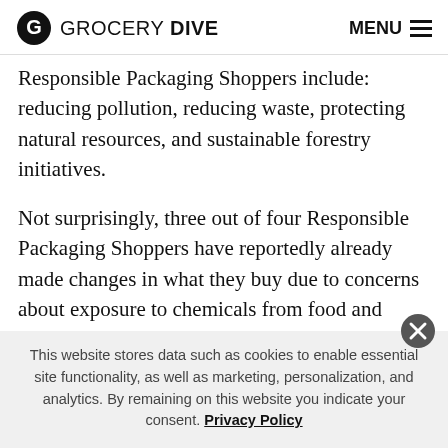GROCERY DIVE  MENU
Responsible Packaging Shoppers include: reducing pollution, reducing waste, protecting natural resources, and sustainable forestry initiatives.
Not surprisingly, three out of four Responsible Packaging Shoppers have reportedly already made changes in what they buy due to concerns about exposure to chemicals from food and beverage packaging. More than six in ten have concerns about the safety of plastic and BPA used in food and beverage packaging. And, they are eager to
This website stores data such as cookies to enable essential site functionality, as well as marketing, personalization, and analytics. By remaining on this website you indicate your consent. Privacy Policy